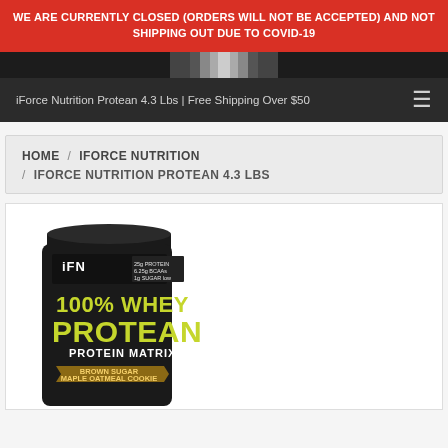WE ARE CURRENTLY CLOSED (ORDERS WILL NOT BE ACCEPTED) AND NOT SHIPPING OUT DUE TO COVID-19
[Figure (screenshot): Dark hero/header image strip showing top of a product container in grayscale]
iForce Nutrition Protean 4.3 Lbs | Free Shipping Over $50
HOME / IFORCE NUTRITION / IFORCE NUTRITION PROTEAN 4.3 LBS
[Figure (photo): Black plastic tub of iForce Nutrition 100% Whey Protean Protein Matrix in Brown Sugar Maple Oatmeal Cookie flavor, 25g Protein, 6.25g BCAAs, 1g Sugar label visible]